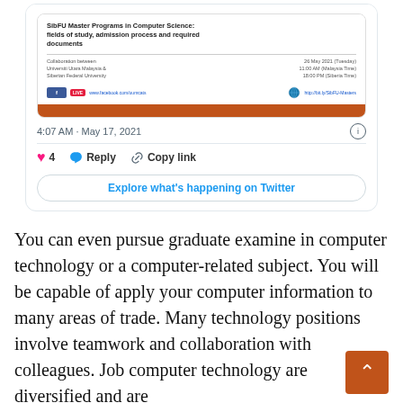[Figure (screenshot): Screenshot of a Twitter/social media post embed showing a Facebook Live event card for 'SibFU Master Programs in Computer Science: fields of study, admission process and required documents'. The card shows date 26 May 2021, time 11:00 AM (Malaysia Time) / 18:00 PM (Siberia Time), collaboration between Universiti Utara Malaysia & Siberian Federal University, with Facebook Live and a website link. An orange bar runs across the bottom of the card. Below the card image shows timestamp 4:07 AM · May 17, 2021, with an info icon, a like count of 4 with heart icon, Reply button, Copy link button, and an 'Explore what's happening on Twitter' button.]
You can even pursue graduate examine in computer technology or a computer-related subject. You will be capable of apply your computer information to many areas of trade. Many technology positions involve teamwork and collaboration with colleagues. Job computer technology are diversified and are